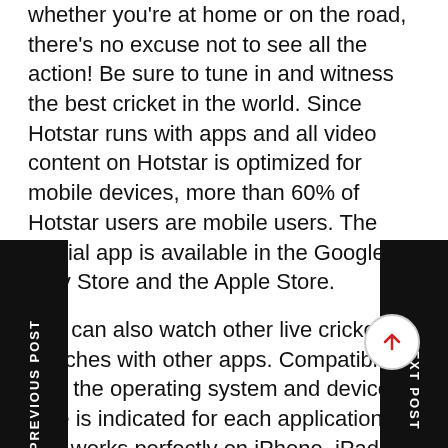whether you're at home or on the road, there's no excuse not to see all the action! Be sure to tune in and witness the best cricket in the world. Since Hotstar runs with apps and all video content on Hotstar is optimized for mobile devices, more than 60% of Hotstar users are mobile users. The official app is available in the Google Play Store and the Apple Store.
You can also watch other live cricket matches with other apps. Compatibility with the operating system and device type is indicated for each application and works perfectly on iPhone, iPad, iOS, Android mobile devices and TVs. Willow TV is the app for fans who want to watch IPL 2022 Live Stream in USA, UK and Canada. Willow TV will offer exclusive broadcasts of all IPL 14 matches in these countries.
According to our on-demand streaming service